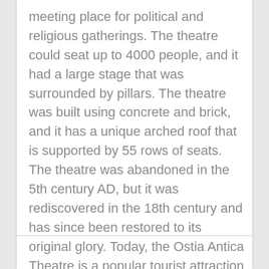meeting place for political and religious gatherings. The theatre could seat up to 4000 people, and it had a large stage that was surrounded by pillars. The theatre was built using concrete and brick, and it has a unique arched roof that is supported by 55 rows of seats. The theatre was abandoned in the 5th century AD, but it was rediscovered in the 18th century and has since been restored to its original glory. Today, the Ostia Antica Theatre is a popular tourist attraction and is often used for cultural events.